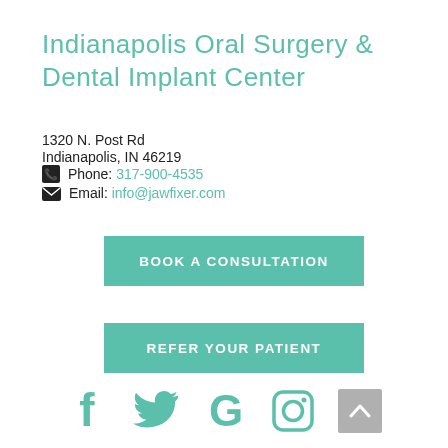Indianapolis Oral Surgery & Dental Implant Center
1320 N. Post Rd
Indianapolis, IN 46219
📞 Phone: 317-900-4535
✉Email: info@jawfixer.com
BOOK A CONSULTATION
REFER YOUR PATIENT
[Figure (other): Social media icons: Facebook, Twitter, Google, Instagram, and a scroll-to-top button]